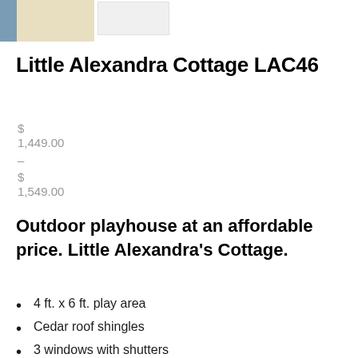[Figure (photo): Two product thumbnail images of the Little Alexandra Cottage playhouse]
Little Alexandra Cottage LAC46
$
1,449.00
–
$
1,549.00
Outdoor playhouse at an affordable price. Little Alexandra's Cottage.
4 ft. x 6 ft. play area
Cedar roof shingles
3 windows with shutters
Taller Dutch Door 54 in.
2 flower boxes
Panelized walls for easy assembly